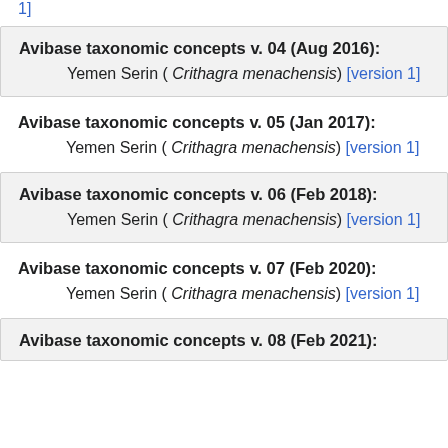[version 1]
Avibase taxonomic concepts v. 04 (Aug 2016): Yemen Serin ( Crithagra menachensis) [version 1]
Avibase taxonomic concepts v. 05 (Jan 2017): Yemen Serin ( Crithagra menachensis) [version 1]
Avibase taxonomic concepts v. 06 (Feb 2018): Yemen Serin ( Crithagra menachensis) [version 1]
Avibase taxonomic concepts v. 07 (Feb 2020): Yemen Serin ( Crithagra menachensis) [version 1]
Avibase taxonomic concepts v. 08 (Feb 2021):